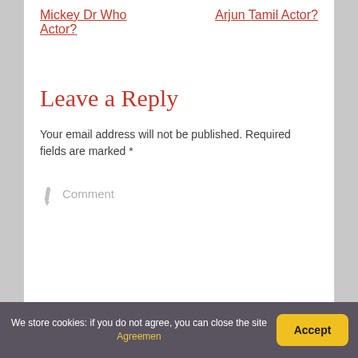Mickey Dr Who Actor?
Arjun Tamil Actor?
Leave a Reply
Your email address will not be published. Required fields are marked *
Comment
We store cookies: if you do not agree, you can close the site Agreemen